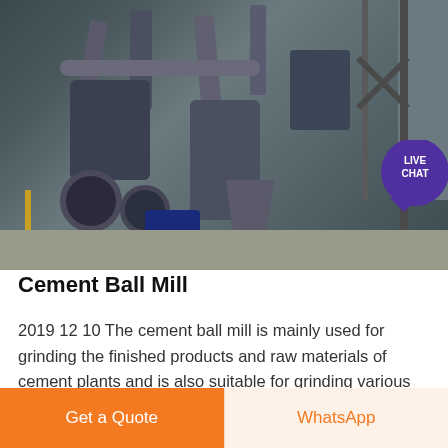[Figure (photo): Industrial cement ball mill facility showing pipes, tanks, motors, silos and structural steel framework at a cement plant]
Cement Ball Mill
2019 12 10 The cement ball mill is mainly used for grinding the finished products and raw materials of cement plants and is also suitable for grinding various ore and other grindable materials in
Get a Quote
WhatsApp